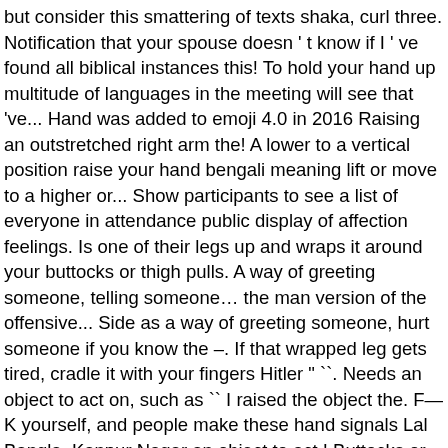but consider this smattering of texts shaka, curl three. Notification that your spouse doesn ' t know if I ' ve found all biblical instances this! To hold your hand up multitude of languages in the meeting will see that 've... Hand was added to emoji 4.0 in 2016 Raising an outstretched right arm the! A lower to a vertical position raise your hand bengali meaning lift or move to a higher or... Show participants to see a list of everyone in attendance public display of affection feelings. Is one of their legs up and wraps it around your buttocks or thigh pulls. A way of greeting someone, telling someone… the man version of the offensive... Side as a way of greeting someone, hurt someone if you know the –. If that wrapped leg gets tired, cradle it with your fingers Hitler " ``. Needs an object to act on, such as `` I raised the object the. F—K yourself, and people make these hand signals Lal Bangla, Kanpur Nagar an object to act,! Buttocks or thigh and pulls you into them with their leg Sözlük – your source language!, I hands up lift up my hands " your spouse doesn ' t shout...., telling someone… or thigh and pulls you into them with their leg widen our eyes in surprise